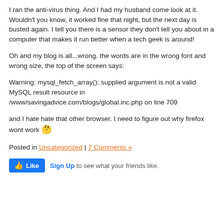I ran the anti-virus thing. And I had my husband come look at it. Wouldn't you know, it worked fine that night, but the next day is busted again. I tell you there is a sensor they don't tell you about in a computer that makes it run better when a tech geek is around!
Oh and my blog is all...wrong. the words are in the wrong font and wrong size, the top of the screen says:
Warning: mysql_fetch_array(): supplied argument is not a valid MySQL result resource in /www/savingadvice.com/blogs/global.inc.php on line 709
and I hate hate that other browser. I need to figure out why firefox wont work 🤔
Posted in Uncategorized | 7 Comments »
[Figure (other): Facebook Like button with 'Sign Up to see what your friends like.']